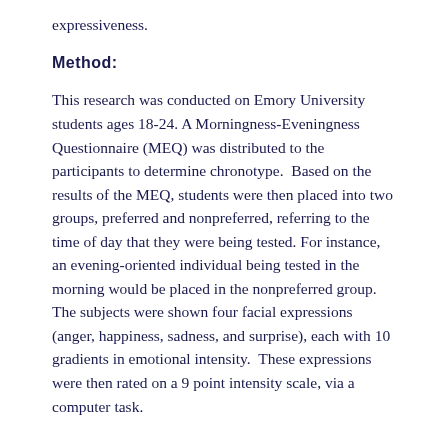expressiveness.
Method:
This research was conducted on Emory University students ages 18-24. A Morningness-Eveningness Questionnaire (MEQ) was distributed to the participants to determine chronotype.  Based on the results of the MEQ, students were then placed into two groups, preferred and nonpreferred, referring to the time of day that they were being tested. For instance, an evening-oriented individual being tested in the morning would be placed in the nonpreferred group. The subjects were shown four facial expressions (anger, happiness, sadness, and surprise), each with 10 gradients in emotional intensity.  These expressions were then rated on a 9 point intensity scale, via a computer task.